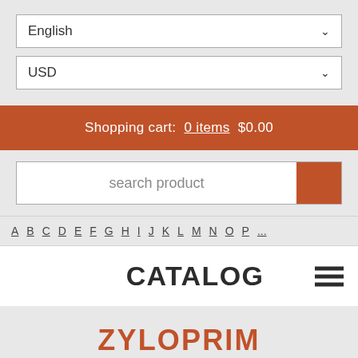English
USD
Shopping cart:  0 items  $0.00
search product
A B C D E F G H I J K L M N O P
CATALOG
ZYLOPRIM